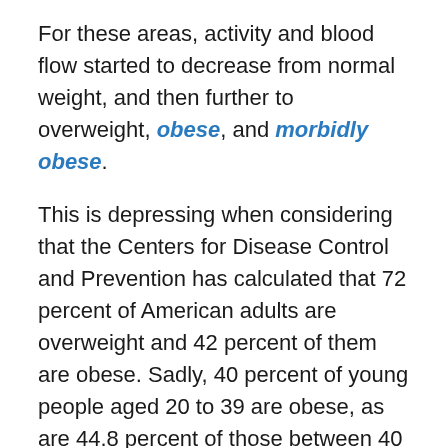For these areas, activity and blood flow started to decrease from normal weight, and then further to overweight, obese, and morbidly obese.
This is depressing when considering that the Centers for Disease Control and Prevention has calculated that 72 percent of American adults are overweight and 42 percent of them are obese. Sadly, 40 percent of young people aged 20 to 39 are obese, as are 44.8 percent of those between 40 and 59, and 42.8 percent of those above 60 years.
On the upside, a study like this shows in no uncertain terms that dementia and Alzheimer's disease are lifestyle diseases that can be prevented using healthy dieting and exercise to lower body weight.
It also means of the to the direction review that